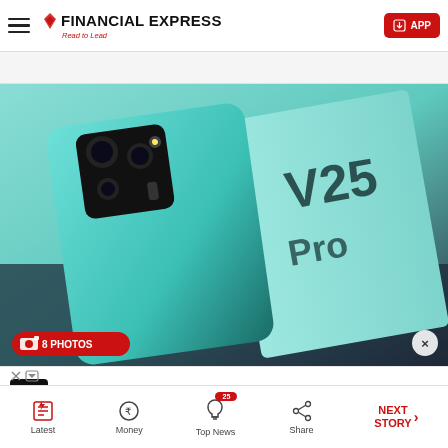Financial Express — Read to Lead
[Figure (photo): Vivo V25 Pro smartphone (teal/green color) shown from back with camera module visible, next to its box with V25 Pro branding. Badge reads: 8 PHOTOS]
[Figure (infographic): Advertisement banner: M logo (Medical Solutions), text 'Fastest Apply Process', Open button]
Latest | Money | Top News (25) | Share | NEXT STORY